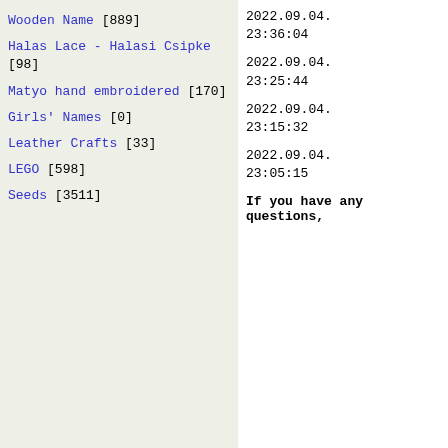Wooden Name [889]
Halas Lace - Halasi Csipke [98]
Matyo hand embroidered [170]
Girls' Names [0]
Leather Crafts [33]
LEGO [598]
Seeds [3511]
2022.09.04. 23:36:04
2022.09.04. 23:25:44
2022.09.04. 23:15:32
2022.09.04. 23:05:15
If you have any questions,